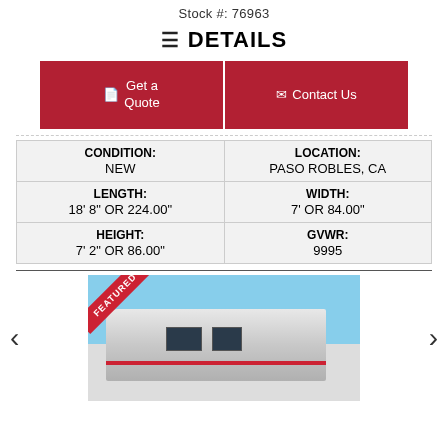Stock #: 76963
DETAILS
[Figure (other): Get a Quote and Contact Us buttons]
| CONDITION | LOCATION | LENGTH | WIDTH | HEIGHT | GVWR |
| --- | --- | --- | --- | --- | --- |
| NEW | PASO ROBLES, CA |
| 18' 8" OR 224.00" | 7' OR 84.00" |
| 7' 2" OR 86.00" | 9995 |
[Figure (photo): Photo of a silver/aluminum horse or livestock trailer with a FEATURED banner in the top-left corner. The trailer is shown against a blue sky background.]